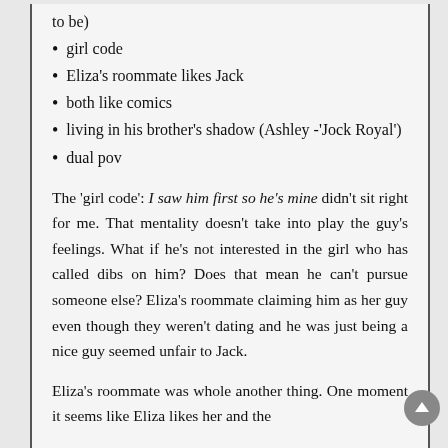to be)
girl code
Eliza's roommate likes Jack
both like comics
living in his brother's shadow (Ashley -'Jock Royal')
dual pov
The 'girl code': I saw him first so he's mine didn't sit right for me. That mentality doesn't take into play the guy's feelings. What if he's not interested in the girl who has called dibs on him? Does that mean he can't pursue someone else? Eliza's roommate claiming him as her guy even though they weren't dating and he was just being a nice guy seemed unfair to Jack.
Eliza's roommate was whole another thing. One moment it seems like Eliza likes her and the